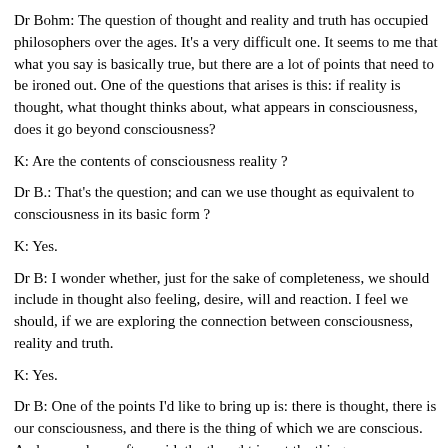Dr Bohm: The question of thought and reality and truth has occupied philosophers over the ages. It's a very difficult one. It seems to me that what you say is basically true, but there are a lot of points that need to be ironed out. One of the questions that arises is this: if reality is thought, what thought thinks about, what appears in consciousness, does it go beyond consciousness?
K: Are the contents of consciousness reality ?
Dr B.: That's the question; and can we use thought as equivalent to consciousness in its basic form ?
K: Yes.
Dr B: I wonder whether, just for the sake of completeness, we should include in thought also feeling, desire, will and reaction. I feel we should, if we are exploring the connection between consciousness, reality and truth.
K: Yes.
Dr B: One of the points I'd like to bring up is: there is thought, there is our consciousness, and there is the thing of which we are conscious. And as you have often said, the thought is not the thing.